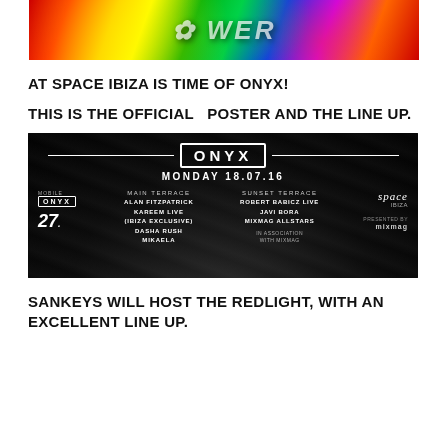[Figure (photo): Colorful psychedelic Flower Power event banner with bright reds, yellows, greens and blues]
AT SPACE IBIZA IS TIME OF ONYX!
THIS IS THE OFFICIAL   POSTER AND THE LINE UP.
[Figure (photo): ONYX event poster - black background with ONYX logo, MONDAY 18.07.16, Space Ibiza logo, Main Terrace lineup: Alan Fitzpatrick, Kareem Live (Ibiza Exclusive), Dasha Rush, Mikaela; Sunset Terrace lineup: Robert Babicz Live, Javi Bora, Mixmag Allstars, In Association with Mixmag; also showing 27 logo and Mixmag]
SANKEYS WILL HOST THE REDLIGHT, WITH AN EXCELLENT LINE UP.